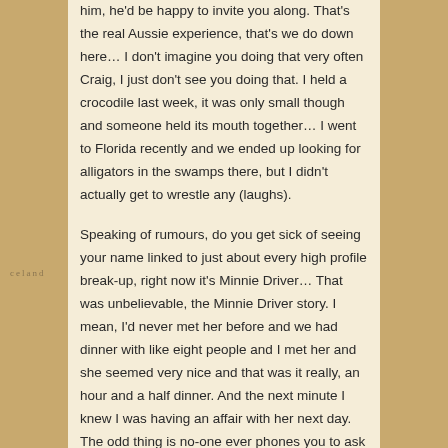him, he'd be happy to invite you along. That's the real Aussie experience, that's we do down here… I don't imagine you doing that very often Craig, I just don't see you doing that. I held a crocodile last week, it was only small though and someone held its mouth together… I went to Florida recently and we ended up looking for alligators in the swamps there, but I didn't actually get to wrestle any (laughs).
Speaking of rumours, do you get sick of seeing your name linked to just about every high profile break-up, right now it's Minnie Driver… That was unbelievable, the Minnie Driver story. I mean, I'd never met her before and we had dinner with like eight people and I met her and she seemed very nice and that was it really, an hour and a half dinner. And the next minute I knew I was having an affair with her next day. The odd thing is no-one ever phones you to ask you how long have